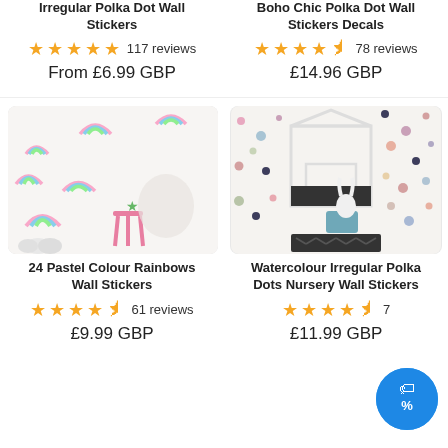Irregular Polka Dot Wall Stickers
Boho Chic Polka Dot Wall Stickers Decals
★★★★★ 117 reviews
★★★★☆ 78 reviews
From £6.99 GBP
£14.96 GBP
[Figure (photo): Wall stickers showing pastel rainbow designs in a child's room with pink stool and cloud balloons]
[Figure (photo): Nursery room with irregular polka dot wall stickers, house-shaped bed frame, bunny lamp and suitcase]
24 Pastel Colour Rainbows Wall Stickers
Watercolour Irregular Polka Dots Nursery Wall Stickers
★★★★½ 61 reviews
★★★★½ 7 reviews
£9.99 GBP
£11.99 GBP